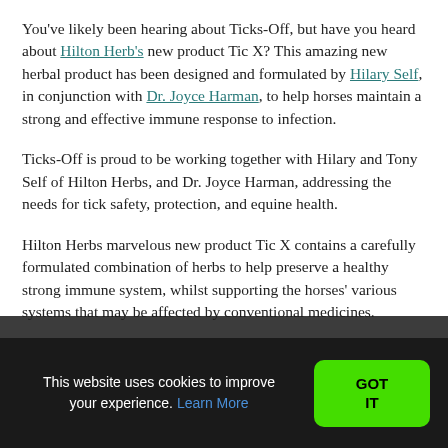You've likely been hearing about Ticks-Off, but have you heard about Hilton Herb's new product Tic X? This amazing new herbal product has been designed and formulated by Hilary Self, in conjunction with Dr. Joyce Harman, to help horses maintain a strong and effective immune response to infection.
Ticks-Off is proud to be working together with Hilary and Tony Self of Hilton Herbs, and Dr. Joyce Harman, addressing the needs for tick safety, protection, and equine health.
Hilton Herbs marvelous new product Tic X contains a carefully formulated combination of herbs to help preserve a healthy strong immune system, whilst supporting the horses' various systems that may be affected by conventional medicines.
This website uses cookies to improve your experience. Learn More GOT IT